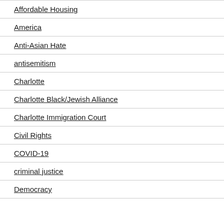Affordable Housing
America
Anti-Asian Hate
antisemitism
Charlotte
Charlotte Black/Jewish Alliance
Charlotte Immigration Court
Civil Rights
COVID-19
criminal justice
Democracy